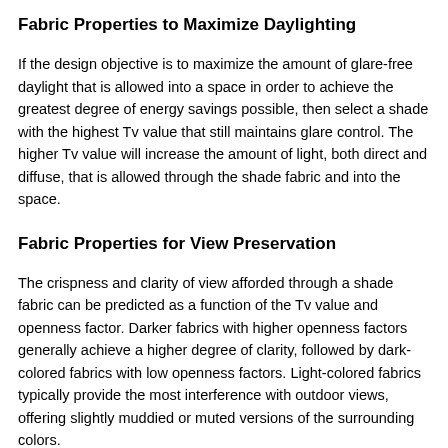Fabric Properties to Maximize Daylighting
If the design objective is to maximize the amount of glare-free daylight that is allowed into a space in order to achieve the greatest degree of energy savings possible, then select a shade with the highest Tv value that still maintains glare control. The higher Tv value will increase the amount of light, both direct and diffuse, that is allowed through the shade fabric and into the space.
Fabric Properties for View Preservation
The crispness and clarity of view afforded through a shade fabric can be predicted as a function of the Tv value and openness factor. Darker fabrics with higher openness factors generally achieve a higher degree of clarity, followed by dark-colored fabrics with low openness factors. Light-colored fabrics typically provide the most interference with outdoor views, offering slightly muddied or muted versions of the surrounding colors.
Until recently, no metric that defined the clarity of view existed to